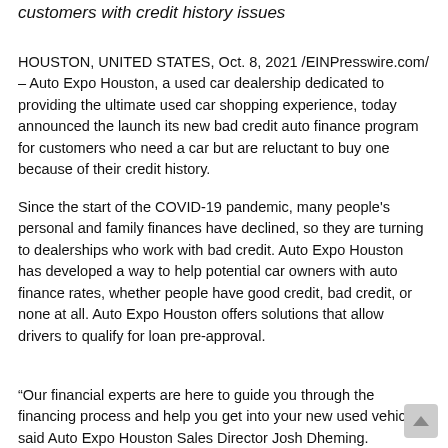customers with credit history issues
HOUSTON, UNITED STATES, Oct. 8, 2021 /EINPresswire.com/ – Auto Expo Houston, a used car dealership dedicated to providing the ultimate used car shopping experience, today announced the launch its new bad credit auto finance program for customers who need a car but are reluctant to buy one because of their credit history.
Since the start of the COVID-19 pandemic, many people's personal and family finances have declined, so they are turning to dealerships who work with bad credit. Auto Expo Houston has developed a way to help potential car owners with auto finance rates, whether people have good credit, bad credit, or none at all. Auto Expo Houston offers solutions that allow drivers to qualify for loan pre-approval.
“Our financial experts are here to guide you through the financing process and help you get into your new used vehicle,” said Auto Expo Houston Sales Director Josh Dheming.